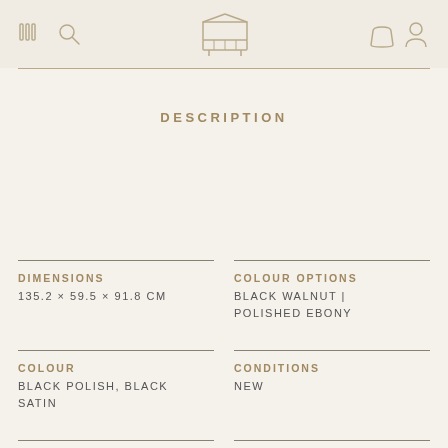Navigation header with menu, piano logo, bag and user icons
DESCRIPTION
DIMENSIONS
135.2 × 59.5 × 91.8 CM
COLOUR OPTIONS
BLACK WALNUT | POLISHED EBONY
COLOUR
BLACK POLISH, BLACK SATIN
CONDITIONS
NEW